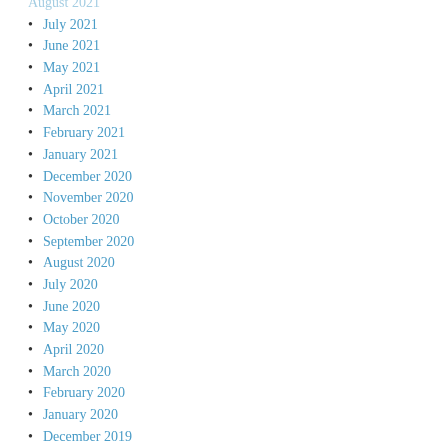July 2021
June 2021
May 2021
April 2021
March 2021
February 2021
January 2021
December 2020
November 2020
October 2020
September 2020
August 2020
July 2020
June 2020
May 2020
April 2020
March 2020
February 2020
January 2020
December 2019
November 2019
October 2019
September 2019
August 2019
July 2019
June 2019